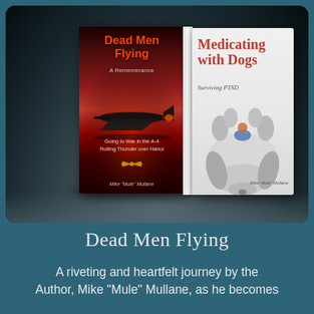[Figure (photo): Two book covers displayed side by side: 'Dead Men Flying: A Remembrance' by Mike 'Mule' Mullane (left, dark red cover with military jet) and 'Medicating with Dogs: Surviving PTSD' by Mike 'Mule' Mullane (right, white cover with dog)]
Dead Men Flying
A riveting and heartfelt journey by the Author, Mike "Mule" Mullane, as he becomes